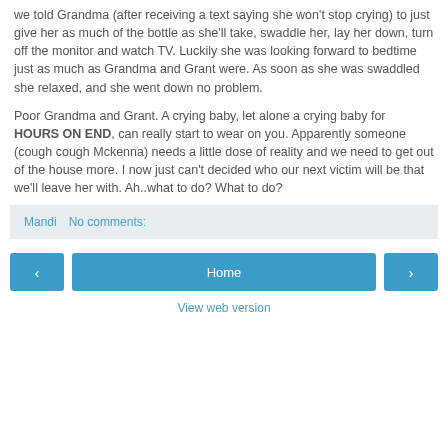we told Grandma (after receiving a text saying she won't stop crying) to just give her as much of the bottle as she'll take, swaddle her, lay her down, turn off the monitor and watch TV. Luckily she was looking forward to bedtime just as much as Grandma and Grant were. As soon as she was swaddled she relaxed, and she went down no problem.
Poor Grandma and Grant. A crying baby, let alone a crying baby for HOURS ON END, can really start to wear on you. Apparently someone (cough cough Mckenna) needs a little dose of reality and we need to get out of the house more. I now just can't decided who our next victim will be that we'll leave her with. Ah..what to do? What to do?
Mandi   No comments:
‹   Home   ›
View web version